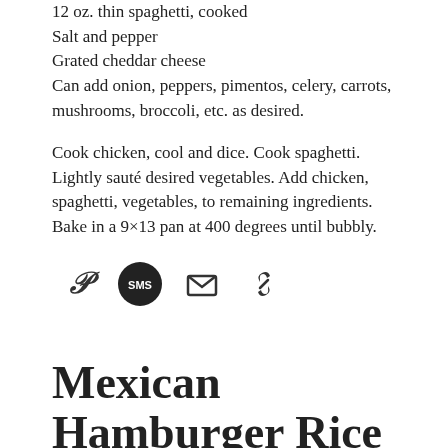12 oz. thin spaghetti, cooked
Salt and pepper
Grated cheddar cheese
Can add onion, peppers, pimentos, celery, carrots, mushrooms, broccoli, etc. as desired.
Cook chicken, cool and dice. Cook spaghetti. Lightly sauté desired vegetables. Add chicken, spaghetti, vegetables, to remaining ingredients. Bake in a 9×13 pan at 400 degrees until bubbly.
[Figure (infographic): Four social sharing icons: Pinterest (P), SMS (speech bubble with SMS), email (envelope), and a link icon]
Mexican Hamburger Rice Skillet